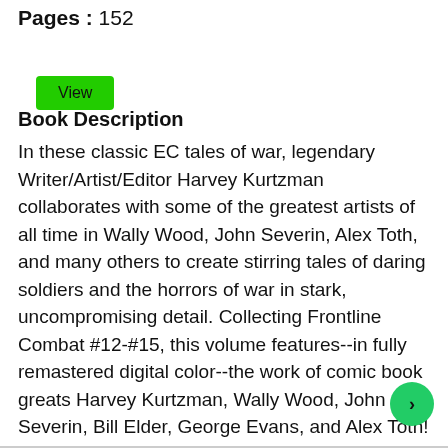Pages : 152
[Figure (other): Green 'View' button]
Book Description
In these classic EC tales of war, legendary Writer/Artist/Editor Harvey Kurtzman collaborates with some of the greatest artists of all time in Wally Wood, John Severin, Alex Toth, and many others to create stirring tales of daring soldiers and the horrors of war in stark, uncompromising detail. Collecting Frontline Combat #12-#15, this volume features--in fully remastered digital color--the work of comic book greats Harvey Kurtzman, Wally Wood, John Severin, Bill Elder, George Evans, and Alex Toth!